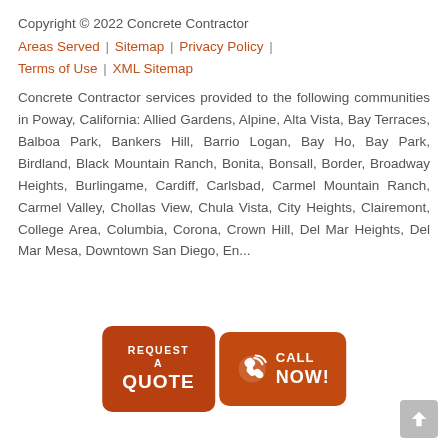Copyright © 2022 Concrete Contractor
Areas Served | Sitemap | Privacy Policy | Terms of Use | XML Sitemap
Concrete Contractor services provided to the following communities in Poway, California: Allied Gardens, Alpine, Alta Vista, Bay Terraces, Balboa Park, Bankers Hill, Barrio Logan, Bay Ho, Bay Park, Birdland, Black Mountain Ranch, Bonita, Bonsall, Border, Broadway Heights, Burlingame, Cardiff, Carlsbad, Carmel Mountain Ranch, Carmel Valley, Chollas View, Chula Vista, City Heights, Clairemont, College Area, Columbia, Corona, Crown Hill, Del Mar Heights, Del Mar Mesa, Downtown San Diego, Encanto, Euclid, Fairmount, ...